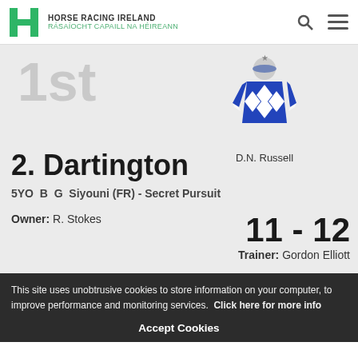HORSE RACING IRELAND RÁSAÍOCHT CAPAILL NA HÉIREANN
1st
[Figure (illustration): Jockey silks illustration – blue body with white diamond pattern, blue sleeves with white diamonds, blue cap with star]
D.N. Russell
2. Dartington
5YO  B  G  Siyouni (FR) - Secret Pursuit
Owner: R. Stokes
11 - 12
Trainer: Gordon Elliott
This site uses unobtrusive cookies to store information on your computer, to improve performance and monitoring services. Click here for more info
Accept Cookies